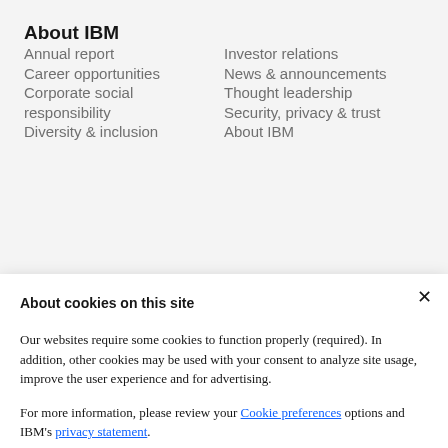About IBM
Annual report
Investor relations
Career opportunities
News & announcements
Corporate social responsibility
Thought leadership
Diversity & inclusion
Security, privacy & trust
About IBM
About cookies on this site
Our websites require some cookies to function properly (required). In addition, other cookies may be used with your consent to analyze site usage, improve the user experience and for advertising.
For more information, please review your Cookie preferences options and IBM's privacy statement.
Required only
Accept all